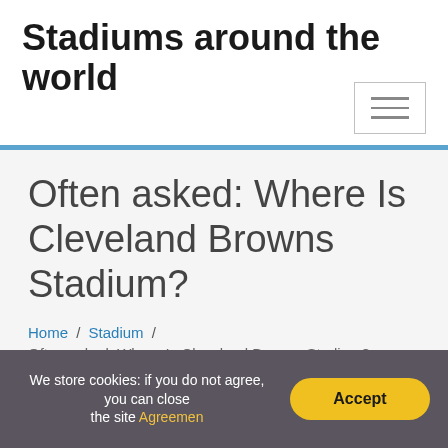Stadiums around the world
[Figure (other): Hamburger/toggle menu button icon with three horizontal lines]
Often asked: Where Is Cleveland Browns Stadium?
Home / Stadium / Often asked: Where Is Cleveland Browns Stadium?
We store cookies: if you do not agree, you can close the site Agreemen
Accept